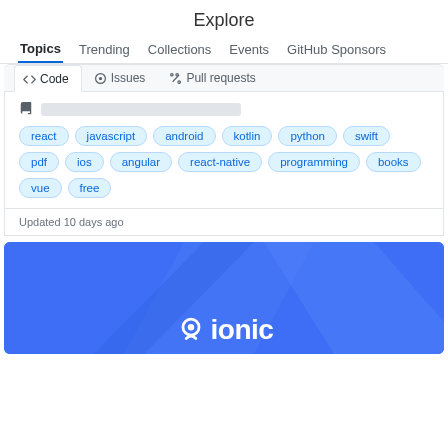Explore
Topics  Trending  Collections  Events  GitHub Sponsors
[Figure (screenshot): GitHub Explore page showing navigation tabs (Topics active, Trending, Collections, Events, GitHub Sponsors), a repository card with Code/Issues/Pull requests sub-tabs, topic tags (react, javascript, android, kotlin, python, swift, pdf, ios, angular, react-native, programming, books, vue, free), footer 'Updated 10 days ago', and the top portion of an Ionic framework banner in blue]
Updated 10 days ago